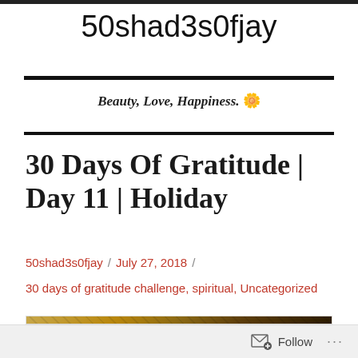50shad3s0fjay
Beauty, Love, Happiness. 🌼
30 Days Of Gratitude | Day 11 | Holiday
50shad3s0fjay / July 27, 2018 /
30 days of gratitude challenge, spiritual, Uncategorized
[Figure (photo): Partially visible photo with autumn/warm toned background with branches visible]
Follow ...